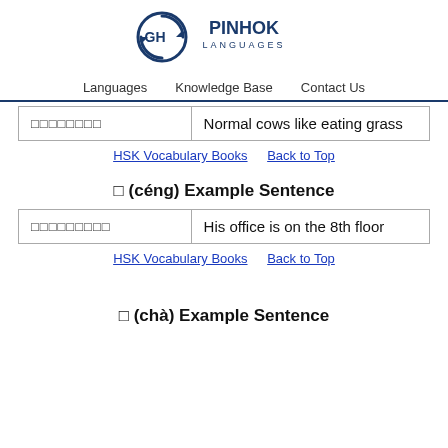[Figure (logo): Pinhok Languages logo with circular arrow icon and text PINHOK LANGUAGES]
Languages   Knowledge Base   Contact Us
| □□□□□□□□ | Normal cows like eating grass |
HSK Vocabulary Books   Back to Top
□ (céng) Example Sentence
| □□□□□□□□□ | His office is on the 8th floor |
HSK Vocabulary Books   Back to Top
□ (chà) Example Sentence